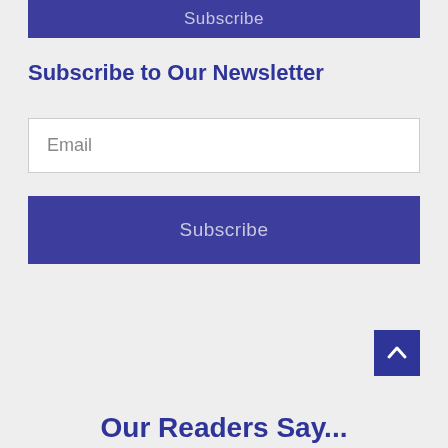Subscribe
Subscribe to Our Newsletter
Email
Subscribe
Our Readers Say...